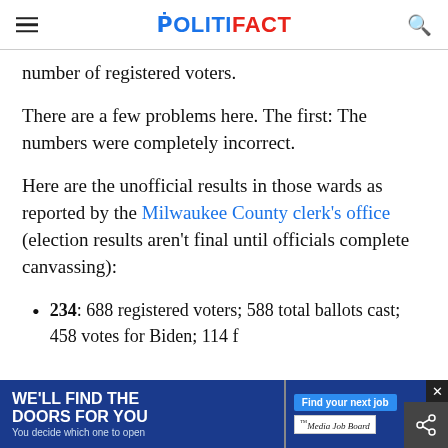POLITIFACT
number of registered voters.
There are a few problems here. The first: The numbers were completely incorrect.
Here are the unofficial results in those wards as reported by the Milwaukee County clerk's office (election results aren't final until officials complete canvassing):
234: 688 registered voters; 588 total ballots cast; 458 votes for Biden; 114 f…